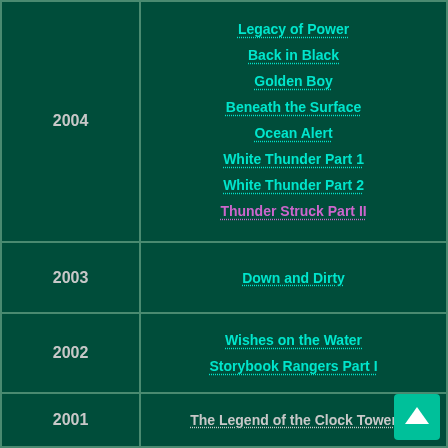| Year | Title |
| --- | --- |
| 2004 | Legacy of Power / Back in Black / Golden Boy / Beneath the Surface / Ocean Alert / White Thunder Part 1 / White Thunder Part 2 / Thunder Struck Part II |
| 2003 | Down and Dirty |
| 2002 | Wishes on the Water / Storybook Rangers Part I |
| 2001 | The Legend of the Clock Tower |